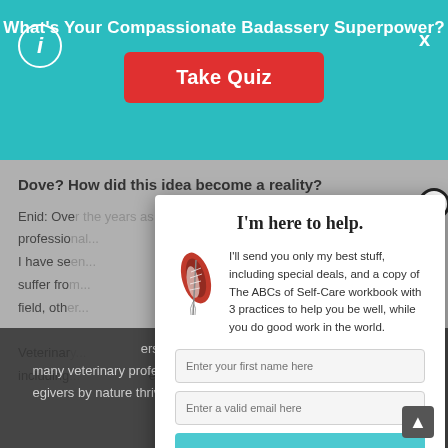What's Your Compassionate Badassery Superpower?
Take Quiz
Dove? How did this idea become a reality?
I'm here to help.
I'll send you only my best stuff, including special deals, and a copy of The ABCs of Self-Care workbook with 3 practices to help you be well, while you do good work in the world.
Enter your first name here
Enter a valid email here
Subscribe
Your information will *never* be shared or sold to a 3rd party.
Enid: Over the years as a professional... jobs, and I have se... folks suffer fro... leave the field, oth... working. Veterina... s, including... estraints ers and many veterinary professionals are born to egivers by nature thrive on helping others,